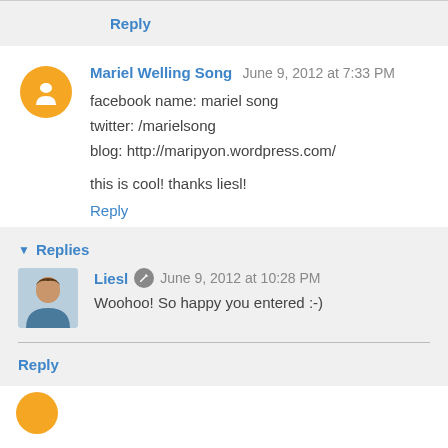Reply
Mariel Welling Song  June 9, 2012 at 7:33 PM
facebook name: mariel song
twitter: /marielsong
blog: http://maripyon.wordpress.com/

this is cool! thanks liesl!
Reply
Replies
Liesl  June 9, 2012 at 10:28 PM
Woohoo! So happy you entered :-)
Reply